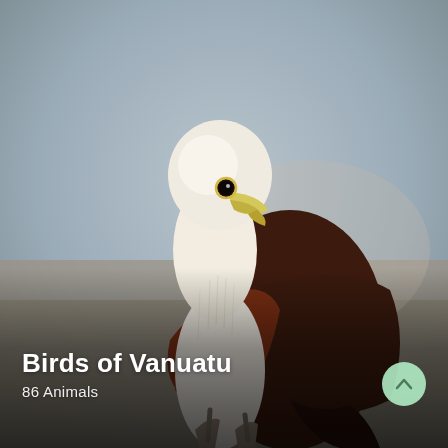[Figure (photo): A Brahminy Kite (white and chestnut-brown raptor) perched, facing left, against a soft blurred grey-brown background. The bird has a white head, neck and breast, with dark chestnut-brown wings and back.]
Birds of Vanuatu
86 Animals